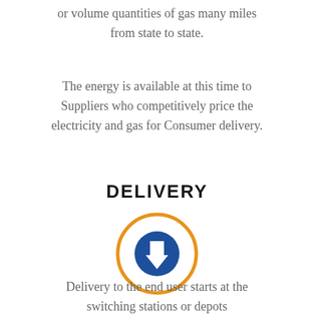or volume quantities of gas many miles from state to state.
The energy is available at this time to Suppliers who competitively price the electricity and gas for Consumer delivery.
DELIVERY
[Figure (illustration): Orange circle outline with a blue filled circle inside containing a white downward arrow icon]
Delivery to the end user starts at the switching stations or depots